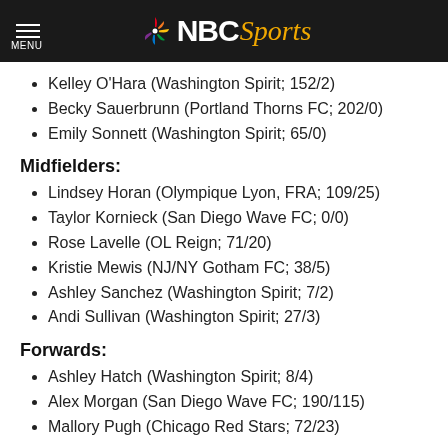NBC Sports
Kelley O'Hara (Washington Spirit; 152/2)
Becky Sauerbrunn (Portland Thorns FC; 202/0)
Emily Sonnett (Washington Spirit; 65/0)
Midfielders:
Lindsey Horan (Olympique Lyon, FRA; 109/25)
Taylor Kornieck (San Diego Wave FC; 0/0)
Rose Lavelle (OL Reign; 71/20)
Kristie Mewis (NJ/NY Gotham FC; 38/5)
Ashley Sanchez (Washington Spirit; 7/2)
Andi Sullivan (Washington Spirit; 27/3)
Forwards:
Ashley Hatch (Washington Spirit; 8/4)
Alex Morgan (San Diego Wave FC; 190/115)
Mallory Pugh (Chicago Red Stars; 72/23)